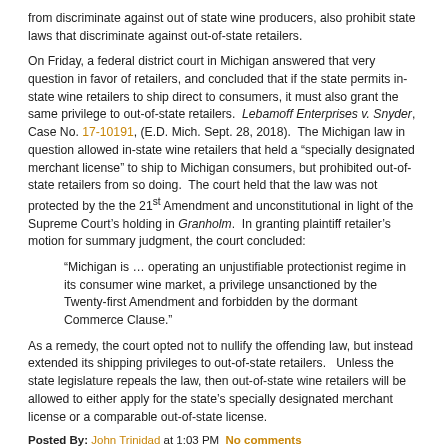from discriminate against out of state wine producers, also prohibit state laws that discriminate against out-of-state retailers.
On Friday, a federal district court in Michigan answered that very question in favor of retailers, and concluded that if the state permits in-state wine retailers to ship direct to consumers, it must also grant the same privilege to out-of-state retailers.  Lebamoff Enterprises v. Snyder, Case No. 17-10191, (E.D. Mich. Sept. 28, 2018).  The Michigan law in question allowed in-state wine retailers that held a “specially designated merchant license” to ship to Michigan consumers, but prohibited out-of-state retailers from so doing.  The court held that the law was not protected by the the 21st Amendment and unconstitutional in light of the Supreme Court's holding in Granholm.  In granting plaintiff retailer’s motion for summary judgment, the court concluded:
“Michigan is … operating an unjustifiable protectionist regime in its consumer wine market, a privilege unsanctioned by the Twenty-first Amendment and forbidden by the dormant Commerce Clause.”
As a remedy, the court opted not to nullify the offending law, but instead extended its shipping privileges to out-of-state retailers.   Unless the state legislature repeals the law, then out-of-state wine retailers will be allowed to either apply for the state’s specially designated merchant license or a comparable out-of-state license.
Posted By: John Trinidad at 1:03 PM  No comments
Tags: 21st Amendment • Direct-to-Consumer Sales • Granholm • Internet & Wine • Wine Law
Topics: Alcohol Beverage • Wine Law